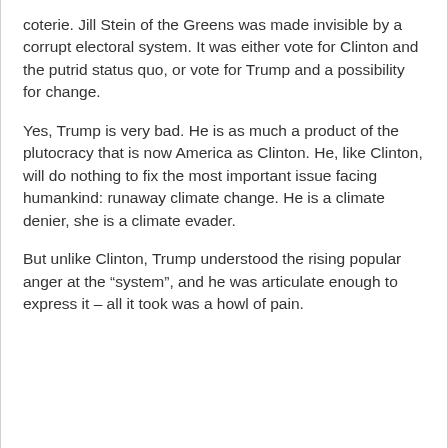coterie. Jill Stein of the Greens was made invisible by a corrupt electoral system. It was either vote for Clinton and the putrid status quo, or vote for Trump and a possibility for change.
Yes, Trump is very bad. He is as much a product of the plutocracy that is now America as Clinton. He, like Clinton, will do nothing to fix the most important issue facing humankind: runaway climate change. He is a climate denier, she is a climate evader.
But unlike Clinton, Trump understood the rising popular anger at the “system”, and he was articulate enough to express it – all it took was a howl of pain.